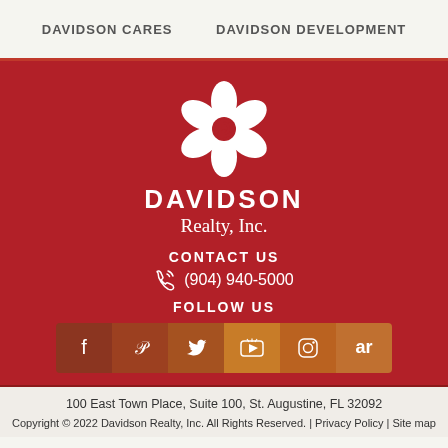DAVIDSON CARES   DAVIDSON DEVELOPMENT
[Figure (logo): Davidson Realty Inc. flower/pinwheel logo in white on dark red background, with DAVIDSON Realty, Inc. text beneath]
CONTACT US
(904) 940-5000
FOLLOW US
[Figure (infographic): Social media icon bar with Facebook, Pinterest, Twitter, YouTube, Instagram, and AR icons]
100 East Town Place, Suite 100, St. Augustine, FL 32092
Copyright © 2022 Davidson Realty, Inc. All Rights Reserved. | Privacy Policy | Site map